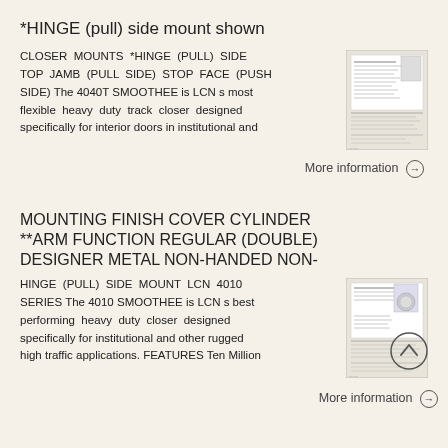*HINGE (pull) side mount shown
CLOSER MOUNTS *HINGE (PULL) SIDE TOP JAMB (PULL SIDE) STOP FACE (PUSH SIDE) The 4040T SMOOTHEE is LCN s most flexible heavy duty track closer designed specifically for interior doors in institutional and
[Figure (photo): Thumbnail image of a product specification sheet for the LCN 4040T door closer]
More information →
MOUNTING FINISH COVER CYLINDER **ARM FUNCTION REGULAR (DOUBLE) DESIGNER METAL NON-HANDED NON-
HINGE (PULL) SIDE MOUNT LCN 4010 SERIES The 4010 SMOOTHEE is LCN s best performing heavy duty closer designed specifically for institutional and other rugged high traffic applications. FEATURES Ten Million
[Figure (photo): Thumbnail image of a product specification sheet for the LCN 4010 door closer]
More information →